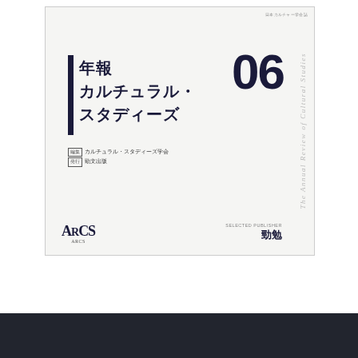[Figure (illustration): Book cover of '年報 カルチュラル・スタディーズ 06' (Annual Review of Cultural Studies, Volume 06). White/light gray cover with dark navy title text, large '06' volume number, vertical rotated English subtitle on right edge 'The Annual Review of Cultural Studies', ARCS logo bottom left, publisher name bottom right '勁勉', editor listed as カルチュラル・スタディーズ学会.]